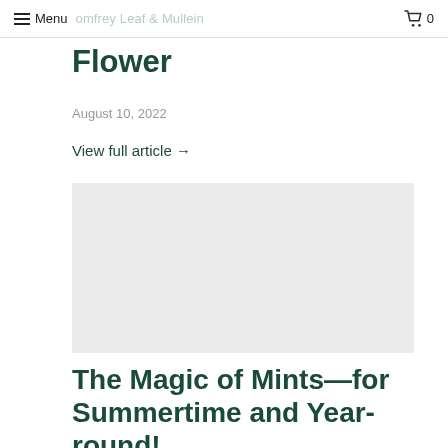Menu  omfrey Leaf & Mullein  0
Flower
August 10, 2022
View full article →
[Figure (photo): Gray placeholder image box for an article about Comfrey Leaf and Mullein Flower]
The Magic of Mints—for Summertime and Year-round!